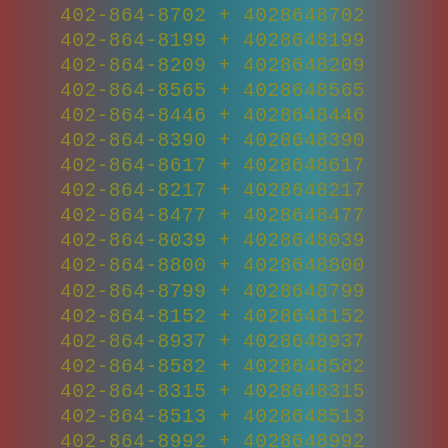402-864-8702 + 4028648702
402-864-8199 + 4028648199
402-864-8209 + 4028648209
402-864-8565 + 4028648565
402-864-8446 + 4028648446
402-864-8390 + 4028648390
402-864-8617 + 4028648617
402-864-8217 + 4028648217
402-864-8477 + 4028648477
402-864-8039 + 4028648039
402-864-8800 + 4028648800
402-864-8799 + 4028648799
402-864-8152 + 4028648152
402-864-8937 + 4028648937
402-864-8582 + 4028648582
402-864-8315 + 4028648315
402-864-8513 + 4028648513
402-864-8992 + 4028648992
402-864-8466 + 4028648466
402-864-8994 + 4028648994
402-864-8108 + 4028648108
402-864-8690 + 4028648690
402-864-8253 + 4028648253